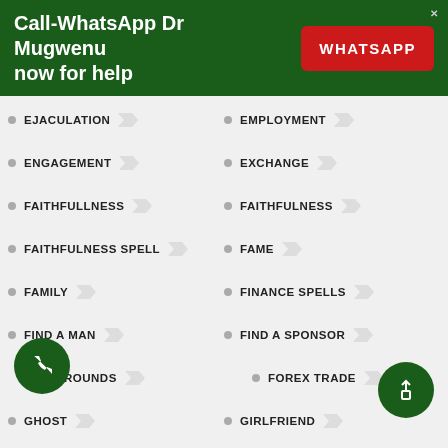Call-WhatsApp Dr Mugwenu now for help
EJACULATION
EMPLOYMENT
ENGAGEMENT
EXCHANGE
FAITHFULLNESS
FAITHFULNESS
FAITHFULNESS SPELL
FAME
FAMILY
FINANCE SPELLS
FIND A MAN
FIND A SPONSOR
GROUNDS
FOREX TRADE
GHOST
GIRLFRIEND